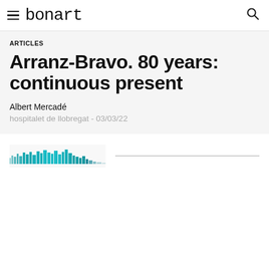≡ bonart 🔍
ARTICLES
Arranz-Bravo. 80 years: continuous present
Albert Mercadé
hospitalet de llobregat - 03/03/22
[Figure (illustration): Partially visible teal/turquoise colored image or artwork thumbnail at bottom left of page, partially cropped]